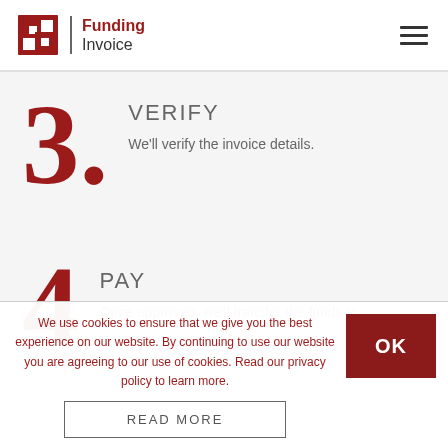[Figure (logo): Funding Invoice logo with red square icon and company name]
VERIFY
We'll verify the invoice details.
PAY
Once approved, we'll transfer the funds to
We use cookies to ensure that we give you the best experience on our website. By continuing to use our website you are agreeing to our use of cookies. Read our privacy policy to learn more.
READ MORE